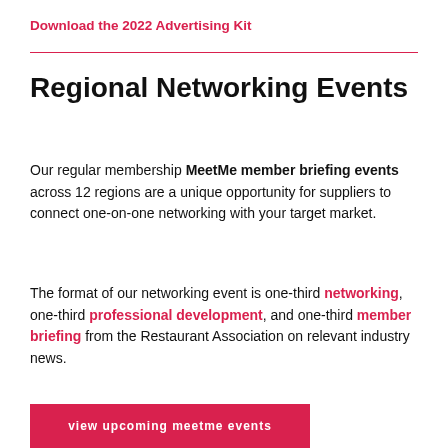Download the 2022 Advertising Kit
Regional Networking Events
Our regular membership MeetMe member briefing events across 12 regions are a unique opportunity for suppliers to connect one-on-one networking with your target market.
The format of our networking event is one-third networking, one-third professional development, and one-third member briefing from the Restaurant Association on relevant industry news.
view upcoming meetme events